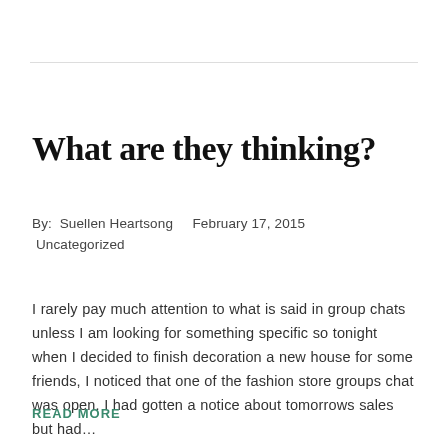What are they thinking?
By:  Suellen Heartsong    February 17, 2015
 Uncategorized
I rarely pay much attention to what is said in group chats unless I am looking for something specific so tonight when I decided to finish decoration a new house for some friends, I noticed that one of the fashion store groups chat was open. I had gotten a notice about tomorrows sales but had…
READ MORE